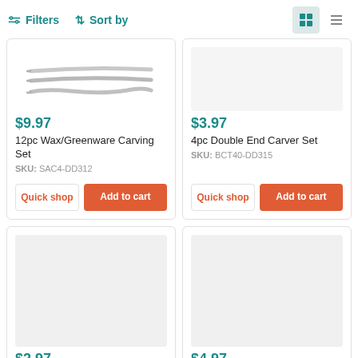Filters   Sort by
[Figure (photo): Three metal wax/greenware carving tools laid flat, showing curved and pointed ends]
$9.97
12pc Wax/Greenware Carving Set
SKU: SAC4-DD312
$3.97
4pc Double End Carver Set
SKU: BCT40-DD315
[Figure (photo): Gray placeholder image for product]
$2.97
[Figure (photo): Gray placeholder image for product]
$4.97